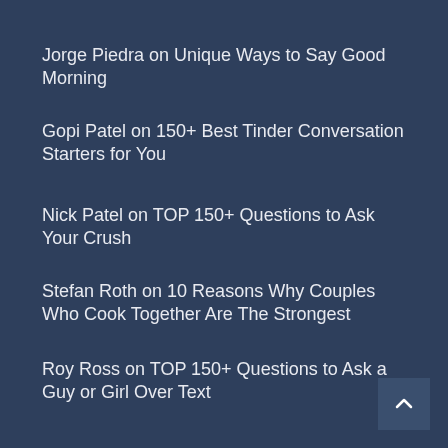Jorge Piedra on Unique Ways to Say Good Morning
Gopi Patel on 150+ Best Tinder Conversation Starters for You
Nick Patel on TOP 150+ Questions to Ask Your Crush
Stefan Roth on 10 Reasons Why Couples Who Cook Together Are The Strongest
Roy Ross on TOP 150+ Questions to Ask a Guy or Girl Over Text
Pages
About Us